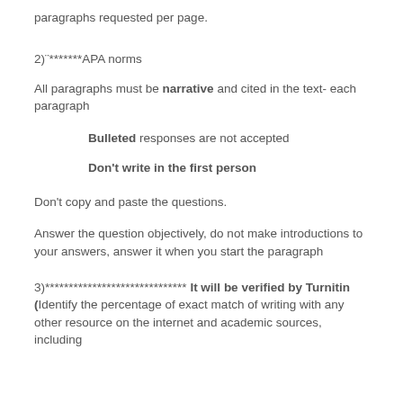paragraphs requested per page.
2)¨*******APA norms
All paragraphs must be narrative and cited in the text- each paragraph
Bulleted responses are not accepted
Don't write in the first person
Don't copy and paste the questions.
Answer the question objectively, do not make introductions to your answers, answer it when you start the paragraph
3)****************************** It will be verified by Turnitin (Identify the percentage of exact match of writing with any other resource on the internet and academic sources, including